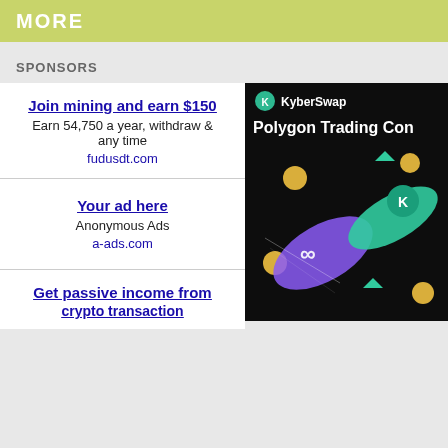MORE
SPONSORS
Join mining and earn $150
Earn 54,750 a year, withdraw any time
fudusdt.com
Your ad here
Anonymous Ads
a-ads.com
Get passive income from crypto transaction
[Figure (illustration): KyberSwap advertisement showing Polygon Trading Contest with crypto coin graphics on dark background]